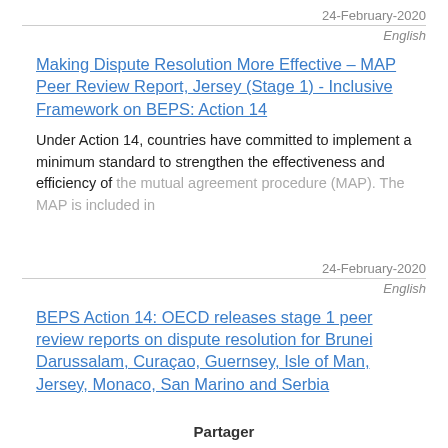24-February-2020
English
Making Dispute Resolution More Effective – MAP Peer Review Report, Jersey (Stage 1) - Inclusive Framework on BEPS: Action 14
Under Action 14, countries have committed to implement a minimum standard to strengthen the effectiveness and efficiency of the mutual agreement procedure (MAP). The MAP is included in
24-February-2020
English
BEPS Action 14: OECD releases stage 1 peer review reports on dispute resolution for Brunei Darussalam, Curaçao, Guernsey, Isle of Man, Jersey, Monaco, San Marino and Serbia
Partager